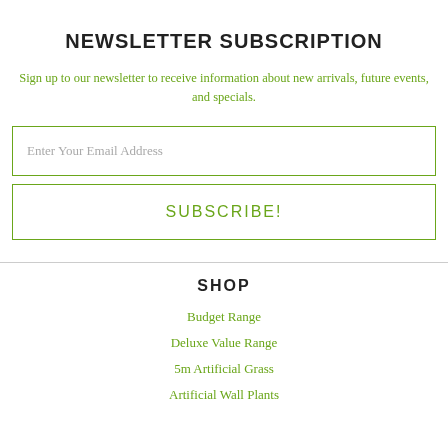NEWSLETTER SUBSCRIPTION
Sign up to our newsletter to receive information about new arrivals, future events, and specials.
Enter Your Email Address
SUBSCRIBE!
SHOP
Budget Range
Deluxe Value Range
5m Artificial Grass
Artificial Wall Plants